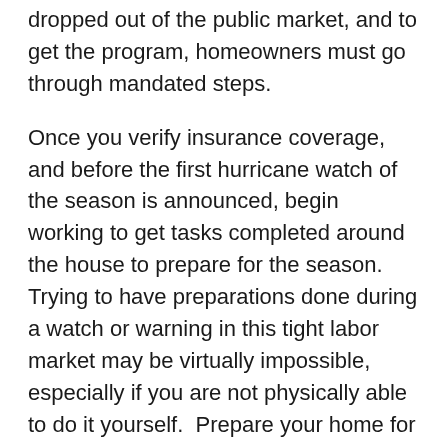dropped out of the public market, and to get the program, homeowners must go through mandated steps.
Once you verify insurance coverage, and before the first hurricane watch of the season is announced, begin working to get tasks completed around the house to prepare for the season. Trying to have preparations done during a watch or warning in this tight labor market may be virtually impossible, especially if you are not physically able to do it yourself.  Prepare your home for a hurricane now while the weather is still nice.
The next and probably most important item in preparing for hurricane season is cutting trees, bushes, and limbs away from your home, especially around the roof area.  Most